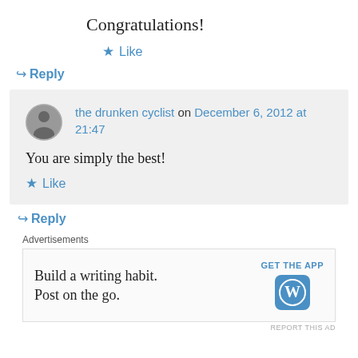Congratulations!
★ Like
↪ Reply
the drunken cyclist on December 6, 2012 at 21:47
You are simply the best!
★ Like
↪ Reply
Advertisements
[Figure (other): WordPress app advertisement: 'Build a writing habit. Post on the go.' with GET THE APP button and WordPress logo]
REPORT THIS AD